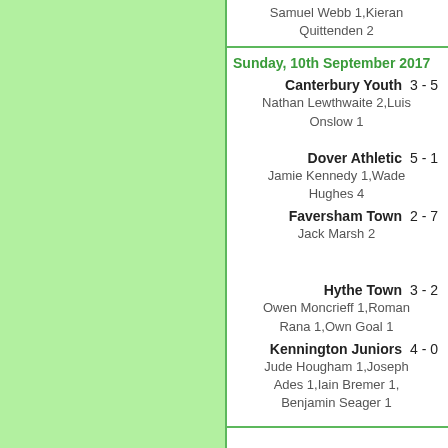Samuel Webb 1,Kieran Quittenden 2
Sunday, 10th September 2017
Canterbury Youth  3 - 5
Nathan Lewthwaite 2,Luis Onslow 1
Dover Athletic  5 - 1
Jamie Kennedy 1,Wade Hughes 4
Faversham Town  2 - 7
Jack Marsh 2
Hythe Town  3 - 2
Owen Moncrieff 1,Roman Rana 1,Own Goal 1
Kennington Juniors  4 - 0
Jude Hougham 1,Joseph Ades 1,Iain Bremer 1,Benjamin Seager 1